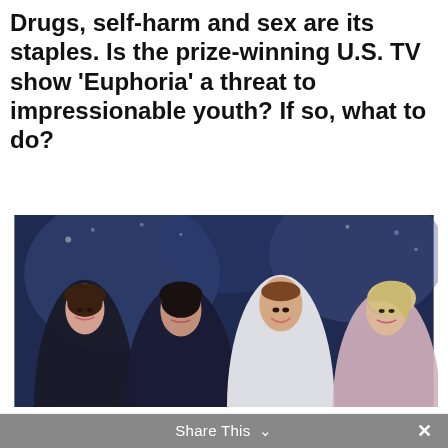Drugs, self-harm and sex are its staples. Is the prize-winning U.S. TV show ‘Euphoria’ a threat to impressionable youth? If so, what to do?
[Figure (photo): Cast members of the U.S. TV drama series Euphoria posing together at a Los Angeles event, 4 June 2019. Four women in formal attire against a dark background.]
Cast members of the U.S. TV drama series “Euphoria,” in Los Angeles, California, 4 June 2019 (Photo by Chris Pizzello/Invision/AP)
Share This